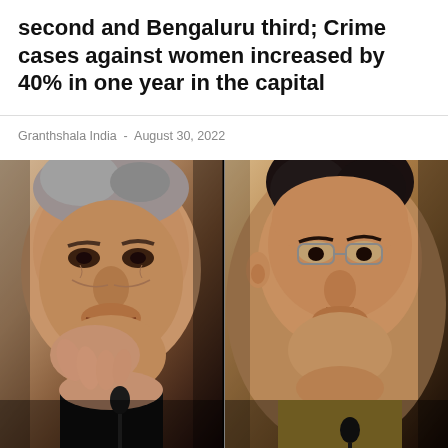second and Bengaluru third; Crime cases against women increased by 40% in one year in the capital
Granthshala India - August 30, 2022
[Figure (photo): Side-by-side close-up photos of two men. Left: an older man with grey hair speaking into a microphone, touching his chin with his hand, wearing a black jacket. Right: a younger man with dark hair wearing glasses, speaking, with mouth open.]